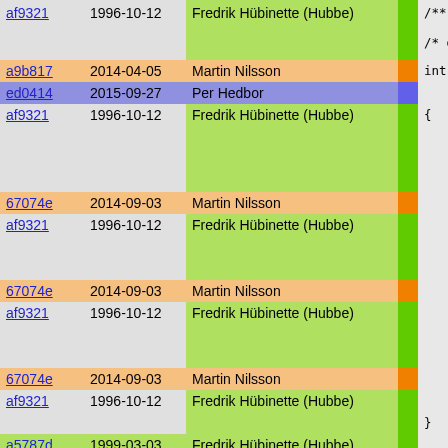| hash | date | author | bar | code |
| --- | --- | --- | --- | --- |
| af9321 | 1996-10-12 | Fredrik Hübinette (Hubbe) |  | /** String |
|  |  |  |  | /* does not |
| a9b817 | 2014-04-05 | Martin Nilsson |  | int low_qui |
| ed0414 | 2015-09-27 | Per Hedbor |  |  |
| af9321 | 1996-10-12 | Fredrik Hübinette (Hubbe) |  | { |
|  |  |  |  |     int tmp; |
|  |  |  |  |     if(alen > |
|  |  |  |  |     { |
| 67074e | 2014-09-03 | Martin Nilsson |  |         tmp=memo |
| af9321 | 1996-10-12 | Fredrik Hübinette (Hubbe) |  |         if(tmp) |
|  |  |  |  |         return 1 |
|  |  |  |  |     }else if(a |
| 67074e | 2014-09-03 | Martin Nilsson |  |         tmp=memo |
| af9321 | 1996-10-12 | Fredrik Hübinette (Hubbe) |  |         if(tmp) |
|  |  |  |  |         return s |
|  |  |  |  |     }else{ |
| 67074e | 2014-09-03 | Martin Nilsson |  |         return r |
| af9321 | 1996-10-12 | Fredrik Hübinette (Hubbe) |  |     } |
|  |  |  |  | } |
| a5787d | 1999-03-03 | Fredrik Hübinette (Hubbe) |  |  |